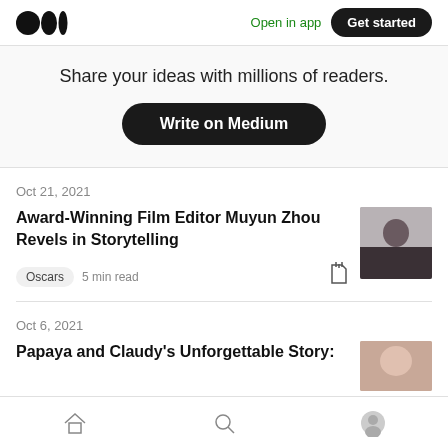Medium logo | Open in app | Get started
Share your ideas with millions of readers.
Write on Medium
Oct 21, 2021
Award-Winning Film Editor Muyun Zhou Revels in Storytelling
Oscars  5 min read
[Figure (photo): Portrait photo of Muyun Zhou, a woman with dark hair wearing a black outfit, shot outdoors]
Oct 6, 2021
Papaya and Claudy's Unforgettable Story:
[Figure (photo): Partial thumbnail image for the second article]
Home | Search | Profile